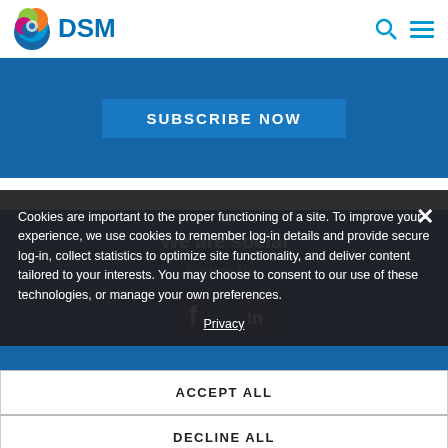[Figure (logo): DSM company logo with colorful swirl icon and blue DSM text, plus search and hamburger menu icons in top right]
SUBSCRIBE NOW
We are social
Follow Us:
[Figure (illustration): Facebook and LinkedIn social media icons]
Cookies are important to the proper functioning of a site. To improve your experience, we use cookies to remember log-in details and provide secure log-in, collect statistics to optimize site functionality, and deliver content tailored to your interests. You may choose to consent to our use of these technologies, or manage your own preferences.
Privacy
ACCEPT ALL
DECLINE ALL
MANAGE SETTINGS